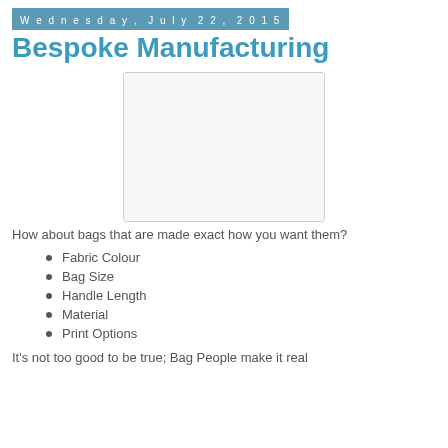Wednesday, July 22, 2015
Bespoke Manufacturing
[Figure (photo): Placeholder image area with light grey background and border]
How about bags that are made exact how you want them?
Fabric Colour
Bag Size
Handle Length
Material
Print Options
It's not too good to be true; Bag People make it real